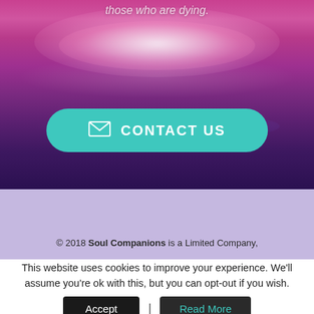[Figure (photo): Hero background with pink and purple glowing water ripple effect]
those who are dying.
CONTACT US
© 2018 Soul Companions is a Limited Company,
This website uses cookies to improve your experience. We'll assume you're ok with this, but you can opt-out if you wish.
Accept | Read More